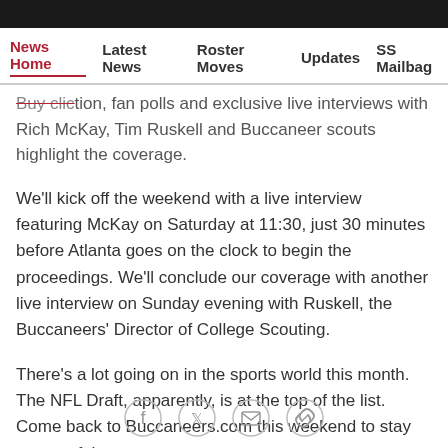News Home | Latest News | Roster Moves | Updates | SS Mailbag
…tion, fan polls and exclusive live interviews with Rich McKay, Tim Ruskell and Buccaneer scouts highlight the coverage.
We'll kick off the weekend with a live interview featuring McKay on Saturday at 11:30, just 30 minutes before Atlanta goes on the clock to begin the proceedings. We'll conclude our coverage with another live interview on Sunday evening with Ruskell, the Buccaneers' Director of College Scouting.
There's a lot going on in the sports world this month. The NFL Draft, apparently, is at the top of the list. Come back to Buccaneers.com this weekend to stay on top of the news.